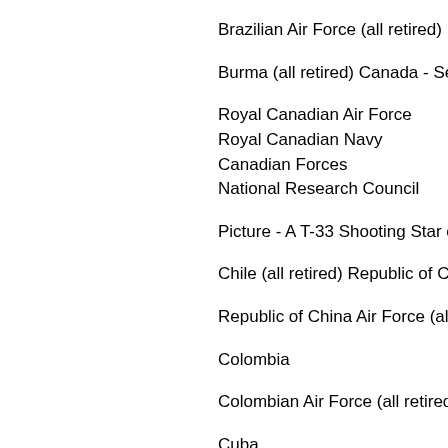Brazilian Air Force (all retired)
Burma (all retired) Canada - See Cana
Royal Canadian Air Force
Royal Canadian Navy
Canadian Forces
National Research Council
Picture - A T-33 Shooting Star of the H
Chile (all retired) Republic of China
Republic of China Air Force (all retired)
Colombia
Colombian Air Force (all retired)
Cuba
Cuban Air Force (all retired)
Denmark